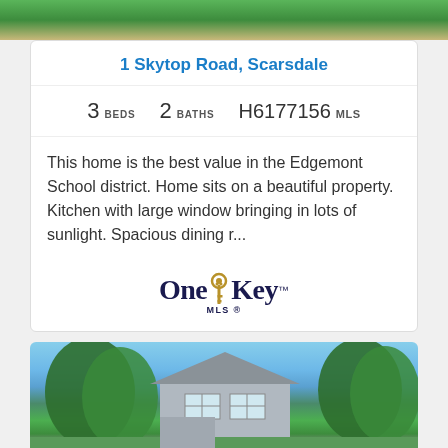[Figure (photo): Top portion of a house listing photo showing green lawn and landscaping]
1 Skytop Road, Scarsdale
3 BEDS   2 BATHS   H6177156 MLS
This home is the best value in the Edgemont School district. Home sits on a beautiful property. Kitchen with large window bringing in lots of sunlight. Spacious dining r...
[Figure (logo): OneKey MLS logo]
[Figure (photo): Photo of a house with blue sky, trees, and gray siding with white window trim]